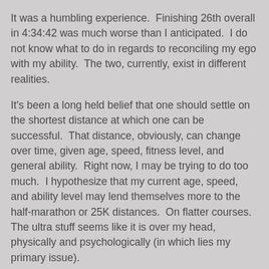It was a humbling experience.  Finishing 26th overall in 4:34:42 was much worse than I anticipated.  I do not know what to do in regards to reconciling my ego with my ability.  The two, currently, exist in different realities.
It's been a long held belief that one should settle on the shortest distance at which one can be successful.  That distance, obviously, can change over time, given age, speed, fitness level, and general ability.  Right now, I may be trying to do too much.  I hypothesize that my current age, speed, and ability level may lend themselves more to the half-marathon or 25K distances.  On flatter courses.  The ultra stuff seems like it is over my head, physically and psychologically (in which lies my primary issue).
I will still be at Bighorn next month.  But after that, I may forego this ultra stuff for a while longer.
ragurun at 11:10 AM
Share